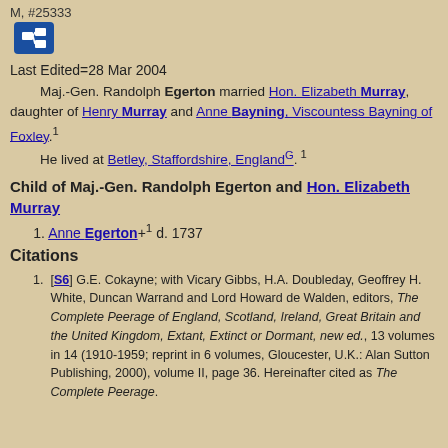M, #25333
Last Edited=28 Mar 2004
Maj.-Gen. Randolph Egerton married Hon. Elizabeth Murray, daughter of Henry Murray and Anne Bayning, Viscountess Bayning of Foxley.1
He lived at Betley, Staffordshire, England G. 1
Child of Maj.-Gen. Randolph Egerton and Hon. Elizabeth Murray
1. Anne Egerton+1 d. 1737
Citations
[S6] G.E. Cokayne; with Vicary Gibbs, H.A. Doubleday, Geoffrey H. White, Duncan Warrand and Lord Howard de Walden, editors, The Complete Peerage of England, Scotland, Ireland, Great Britain and the United Kingdom, Extant, Extinct or Dormant, new ed., 13 volumes in 14 (1910-1959; reprint in 6 volumes, Gloucester, U.K.: Alan Sutton Publishing, 2000), volume II, page 36. Hereinafter cited as The Complete Peerage.